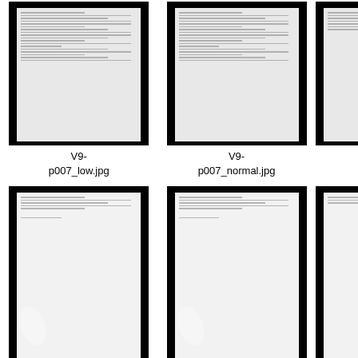[Figure (photo): Thumbnail of scanned manuscript page V9-p007_low.jpg, dark background with white document page showing handwritten text]
V9-
p007_low.jpg
[Figure (photo): Thumbnail of scanned manuscript page V9-p007_normal.jpg, dark background with white document page showing handwritten text]
V9-
p007_normal.jpg
[Figure (photo): Partial thumbnail of third variant of p007, cropped at right edge]
[Figure (photo): Thumbnail of scanned manuscript page V9-p008_low.jpg, dark background with mostly blank white document page]
V9-
p008_low.jpg
[Figure (photo): Thumbnail of scanned manuscript page V9-p008_normal.jpg, dark background with mostly blank white document page]
V9-
p008_normal.jpg
[Figure (photo): Partial thumbnail of third variant of p008, cropped at right edge]
[Figure (photo): Partial thumbnail of scanned manuscript page p009 low variant, bottom portion visible]
[Figure (photo): Partial thumbnail of scanned manuscript page p009 normal variant, bottom portion visible]
[Figure (photo): Partial thumbnail of third variant of p009, cropped at right edge, bottom portion visible]